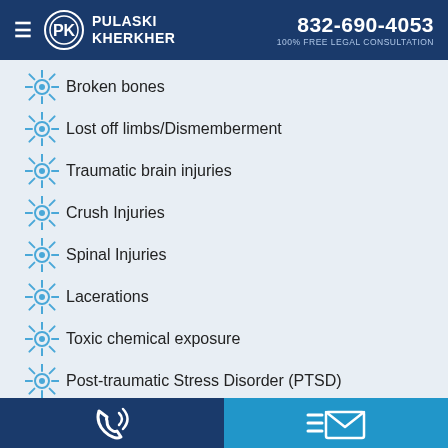Pulaski Kherkher | 832-690-4053 | 100% FREE LEGAL CONSULTATION
Broken bones
Lost off limbs/Dismemberment
Traumatic brain injuries
Crush Injuries
Spinal Injuries
Lacerations
Toxic chemical exposure
Post-traumatic Stress Disorder (PTSD)
Phone | Email